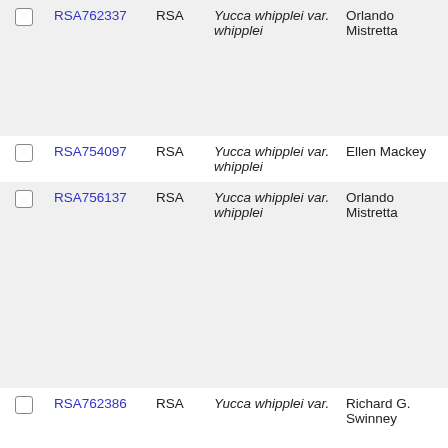|  | ID | Source | Name | Collector | Number |
| --- | --- | --- | --- | --- | --- |
|  | RSA762337 | RSA | Yucca whipplei var. whipplei | Orlando Mistretta | 8731 |
|  | RSA754097 | RSA | Yucca whipplei var. whipplei | Ellen Mackey | NFWF-1811 |
|  | RSA756137 | RSA | Yucca whipplei var. whipplei | Orlando Mistretta | 2530 |
|  | RSA762386 | RSA | Yucca whipplei var. | Richard G. Swinney | 9999 |